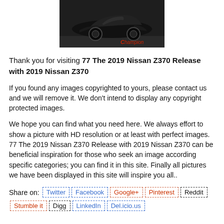[Figure (photo): A dark sports car (Corvette-style) photographed indoors, with a Champion logo/watermark at the bottom right.]
Thank you for visiting 77 The 2019 Nissan Z370 Release with 2019 Nissan Z370
If you found any images copyrighted to yours, please contact us and we will remove it. We don't intend to display any copyright protected images.
We hope you can find what you need here. We always effort to show a picture with HD resolution or at least with perfect images. 77 The 2019 Nissan Z370 Release with 2019 Nissan Z370 can be beneficial inspiration for those who seek an image according specific categories; you can find it in this site. Finally all pictures we have been displayed in this site will inspire you all..
Share on: Twitter Facebook Google+ Pinterest Reddit Stumble it Digg LinkedIn Del.icio.us